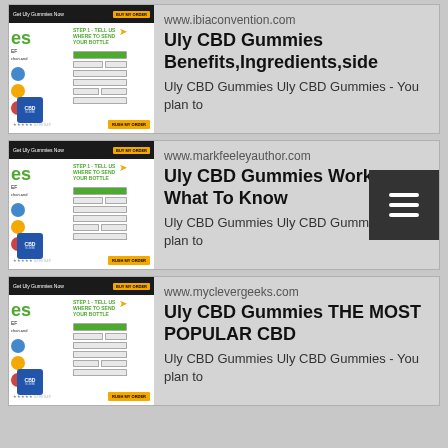[Figure (screenshot): Thumbnail screenshot of a CBD product order page]
www.ibiaconvention.com
Uly CBD Gummies Benefits,Ingredients,side
Uly CBD Gummies Uly CBD Gummies - You plan to
[Figure (screenshot): Thumbnail screenshot of a CBD product order page]
www.markfeeleyauthor.com
Uly CBD Gummies Work , What To Know
Uly CBD Gummies Uly CBD Gummies - You plan to
[Figure (screenshot): Thumbnail screenshot of a CBD product order page]
www.myclevergeeks.com
Uly CBD Gummies THE MOST POPULAR CBD
Uly CBD Gummies Uly CBD Gummies - You plan to